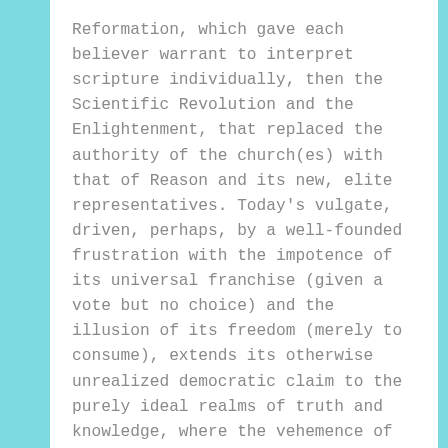Reformation, which gave each believer warrant to interpret scripture individually, then the Scientific Revolution and the Enlightenment, that replaced the authority of the church(es) with that of Reason and its new, elite representatives. Today's vulgate, driven, perhaps, by a well-founded frustration with the impotence of its universal franchise (given a vote but no choice) and the illusion of its freedom (merely to consume), extends its otherwise unrealized democratic claim to the purely ideal realms of truth and knowledge, where the vehemence of its voice and convictions is enough to disperse what verbal tear gas or deflect what truncheons of argument might be deployed by the tribunal of reason to police it.